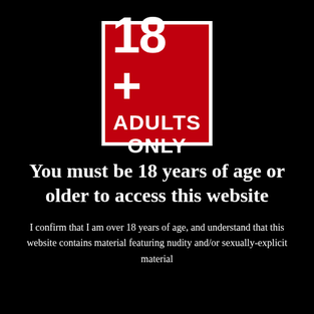[Figure (other): Red square badge with white border showing '18+' in large bold text and 'ADULTS ONLY' below in bold white text on red background]
You must be 18 years of age or older to access this website
I confirm that I am over 18 years of age, and understand that this website contains material featuring nudity and/or sexually-explicit material